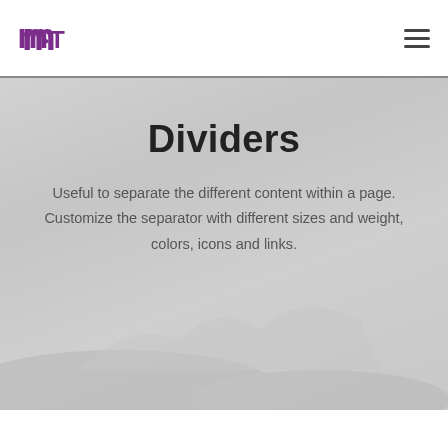[Figure (logo): MiT logo in purple with stylized letters m, i, T]
Dividers
Useful to separate the different content within a page. Customize the separator with different sizes and weight, colors, icons and links.